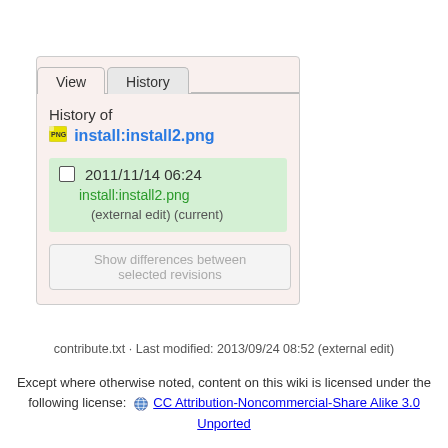[Figure (screenshot): Wiki file history panel showing 'History of install:install2.png' with a single revision entry dated 2011/11/14 06:24 with green highlight, checkbox, link, and (external edit) (current) note. Tabs for View and History shown at top. A 'Show differences between selected revisions' button at bottom.]
contribute.txt · Last modified: 2013/09/24 08:52 (external edit)
Except where otherwise noted, content on this wiki is licensed under the following license:  CC Attribution-Noncommercial-Share Alike 3.0 Unported